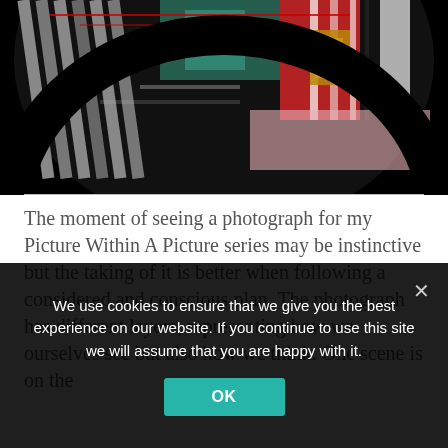[Figure (photo): Abstract artistic photograph showing reflections and layered patterns with colors including red, teal, black, pink, and gray stripes. Part of a 'Picture Within A Picture' series.]
The moment of seeing a photograph for my Picture Within A Picture series may be instinctive but the taking of it is better when following a considered and conscious plan. The photograph has different layers, representing how we ourselves see but also how we think. One scene is on the
We use cookies to ensure that we give you the best experience on our website. If you continue to use this site we will assume that you are happy with it.